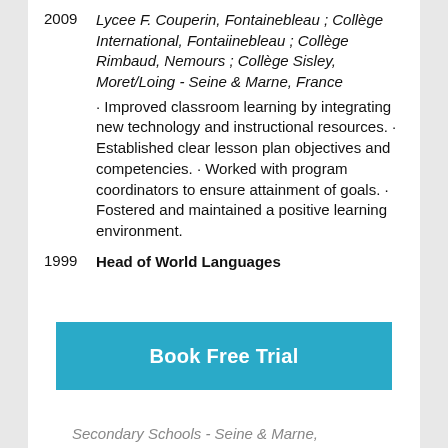2009  Lycee F. Couperin, Fontainebleau ; Collège International, Fontaiinebleau ; Collège Rimbaud, Nemours ; Collège Sisley, Moret/Loing - Seine & Marne, France · Improved classroom learning by integrating new technology and instructional resources. · Established clear lesson plan objectives and competencies. · Worked with program coordinators to ensure attainment of goals. · Fostered and maintained a positive learning environment.
1999  Head of World Languages
Secondary Schools - Seine & Marne,